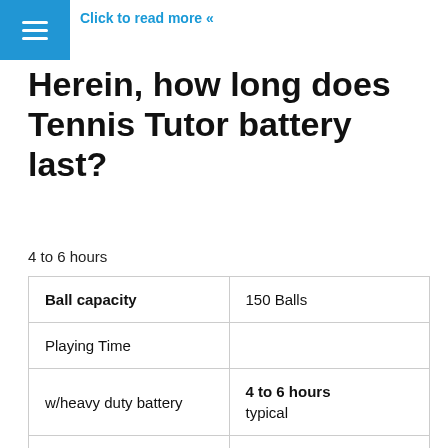≡
Click to read more «
Herein, how long does Tennis Tutor battery last?
4 to 6 hours
| Ball capacity | 150 Balls |
| Playing Time |  |
| w/heavy duty battery | 4 to 6 hours
typical |
| Recharge Time | 12 hours, typical |
| Dimensions (hopper |  |